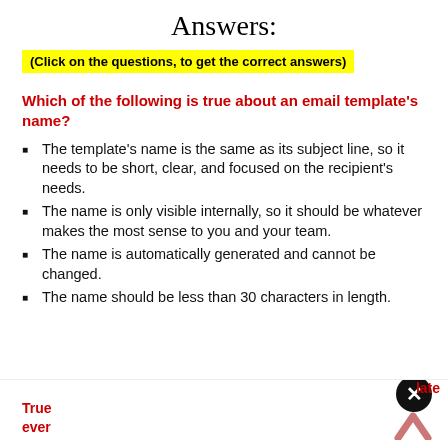Answers:
(Click on the questions, to get the correct answers)
Which of the following is true about an email template's name?
The template's name is the same as its subject line, so it needs to be short, clear, and focused on the recipient's needs.
The name is only visible internally, so it should be whatever makes the most sense to you and your team.
The name is automatically generated and cannot be changed.
The name should be less than 30 characters in length.
True
ever